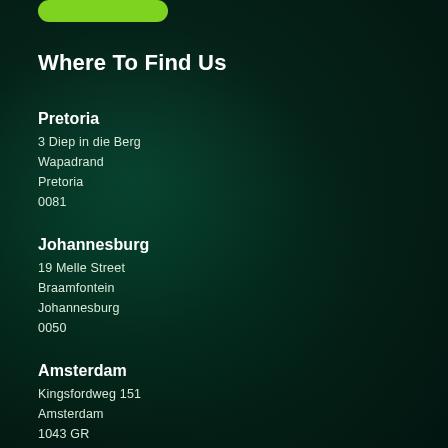Where To Find Us
Pretoria
3 Diep in die Berg
Wapadrand
Pretoria
0081
Johannesburg
19 Melle Street
Braamfontein
Johannesburg
0050
Amsterdam
Kingsfordweg 151
Amsterdam
1043 GR